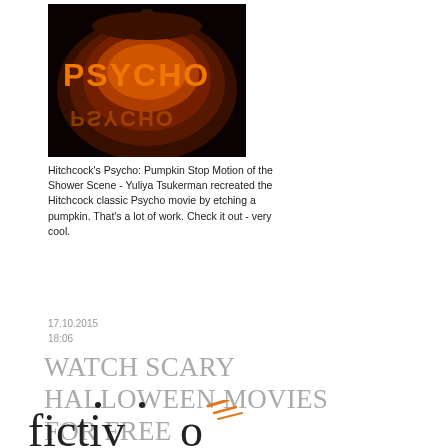[Figure (photo): A jack-o-lantern pumpkin with the word PSYCHO carved and glowing in orange light against a dark background.]
Hitchcock's Psycho: Pumpkin Stop Motion of the Shower Scene - Yuliya Tsukerman recreated the Hitchcock classic Psycho movie by etching a pumpkin. That's a lot of work. Check it out - very cool.
17.10.2015
18:06
WATCH SCARY HALLOWEEN MOVIES FOR FREE
[Figure (logo): Fictivo logo — lowercase 'fictivo' text with orange italic accent lines, partially visible at bottom.]